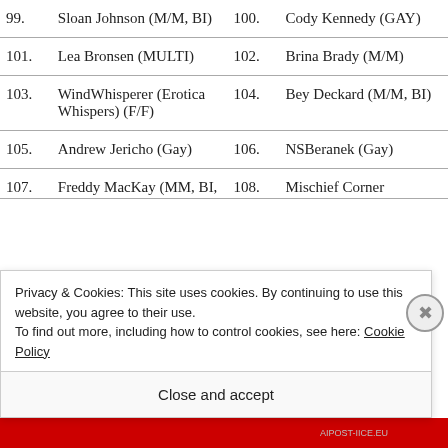99. Sloan Johnson (M/M, BI)
100. Cody Kennedy (GAY)
101. Lea Bronsen (MULTI)
102. Brina Brady (M/M)
103. WindWhisperer (Erotica Whispers) (F/F)
104. Bey Deckard (M/M, BI)
105. Andrew Jericho (Gay)
106. NSBeranek (Gay)
107. Freddy MacKay (MM, BI,
108. Mischief Corner
Privacy & Cookies: This site uses cookies. By continuing to use this website, you agree to their use.
To find out more, including how to control cookies, see here: Cookie Policy
Close and accept